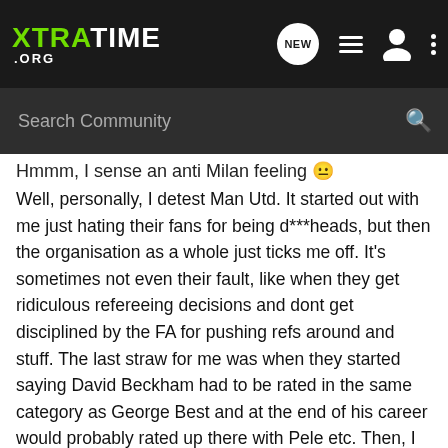XTRATIME .ORG
Hmmm, I sense an anti Milan feeling 🙂
Well, personally, I detest Man Utd. It started out with me just hating their fans for being d***heads, but then the organisation as a whole just ticks me off. It's sometimes not even their fault, like when they get ridiculous refereeing decisions and dont get disciplined by the FA for pushing refs around and stuff. The last straw for me was when they started saying David Beckham had to be rated in the same category as George Best and at the end of his career would probably rated up there with Pele etc. Then, I truly hated them with a passion. Pity, it's not even their fault but all the same, what b******s.
As regards our supposed our-president-can-buy-anyone-he-wants attitude, I feel hala is having a go at our dear friend San_Siro_1 who perhaps gets a bit carried away sometimes a